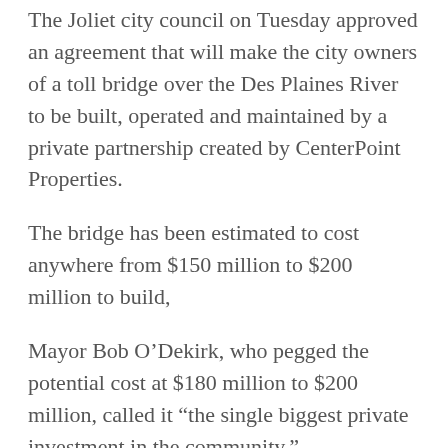The Joliet city council on Tuesday approved an agreement that will make the city owners of a toll bridge over the Des Plaines River to be built, operated and maintained by a private partnership created by CenterPoint Properties.
The bridge has been estimated to cost anywhere from $150 million to $200 million to build,
Mayor Bob O'Dekirk, who pegged the potential cost at $180 million to $200 million, called it “the single biggest private investment in the community.”
Several representatives from United Bridge Partners and CenterPoint, who have formed the joint venture named Houbolt Road Extension JV, were at the meeting. But they limited their comments